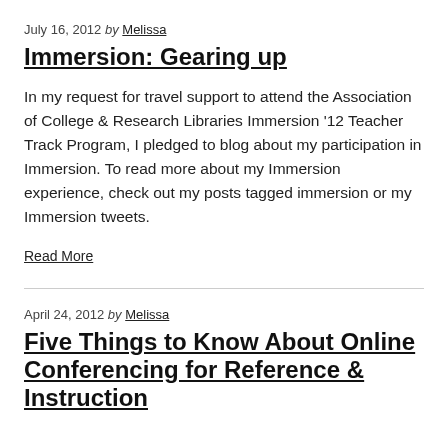July 16, 2012 by Melissa
Immersion: Gearing up
In my request for travel support to attend the Association of College & Research Libraries Immersion '12 Teacher Track Program, I pledged to blog about my participation in Immersion. To read more about my Immersion experience, check out my posts tagged immersion or my Immersion tweets.
Read More
April 24, 2012 by Melissa
Five Things to Know About Online Conferencing for Reference & Instruction